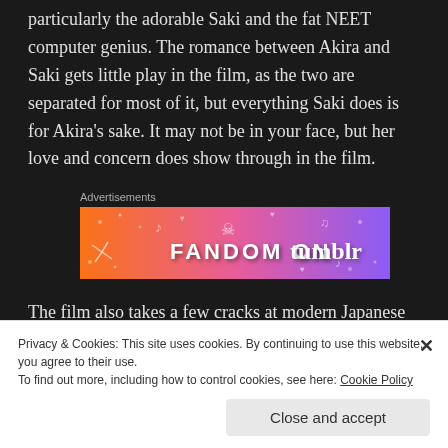particularly the adorable Saki and the fat NEET computer genius. The romance between Akira and Saki gets little play in the film, as the two are separated for most of it, but everything Saki does is for Akira's sake. It may not be in your face, but her love and concern does show through in the film.
Advertisements
[Figure (other): Fandom on Tumblr advertisement banner with orange to purple gradient and music/fandom icons]
The film also takes a few cracks at modern Japanese
Privacy & Cookies: This site uses cookies. By continuing to use this website, you agree to their use.
To find out more, including how to control cookies, see here: Cookie Policy
Close and accept